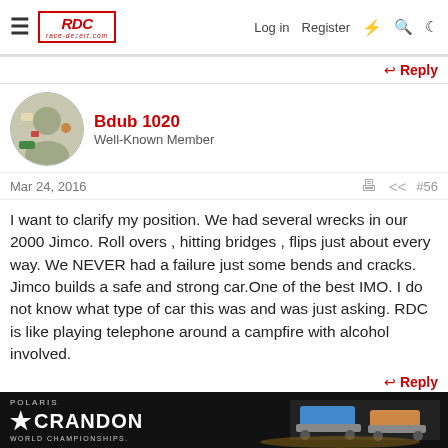race-dezert.com | Log in | Register
Reply
Bdub 1020
Well-Known Member
Mar 24, 2016  #56
I want to clarify my position. We had several wrecks in our 2000 Jimco. Roll overs , hitting bridges , flips just about every way. We NEVER had a failure just some bends and cracks. Jimco builds a safe and strong car.One of the best IMO. I do not know what type of car this was and was just asking. RDC is like playing telephone around a campfire with alcohol involved.
Reply
ndvalium
[Figure (screenshot): Polaris Crandon World Championships advertisement banner at bottom of page]